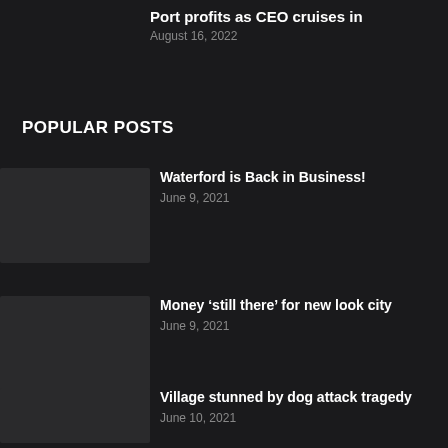Port profits as CEO cruises in
August 16, 2022
POPULAR POSTS
Waterford is Back in Business!
June 9, 2021
Money ‘still there’ for new look city
June 9, 2021
Village stunned by dog attack tragedy
June 10, 2021